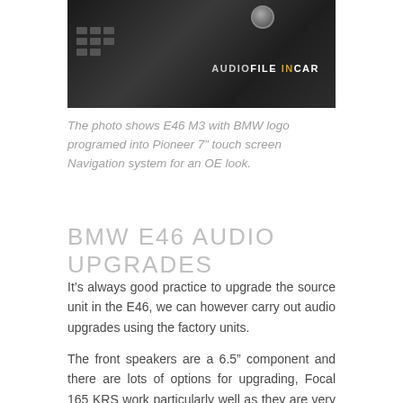[Figure (photo): Car dashboard interior photo showing BMW E46 M3 with Pioneer 7 inch touch screen Navigation system. Dark interior with audio controls visible. 'AUDIOFILE INCAR' text overlay with gold highlighting on 'IN'.]
The photo shows E46 M3 with BMW logo programed into Pioneer 7” touch screen Navigation system for an OE look.
BMW E46 AUDIO UPGRADES
It’s always good practice to upgrade the source unit in the E46, we can however carry out audio upgrades using the factory units.
The front speakers are a 6.5” component and there are lots of options for upgrading, Focal 165 KRS work particularly well as they are very slim and fit nicely